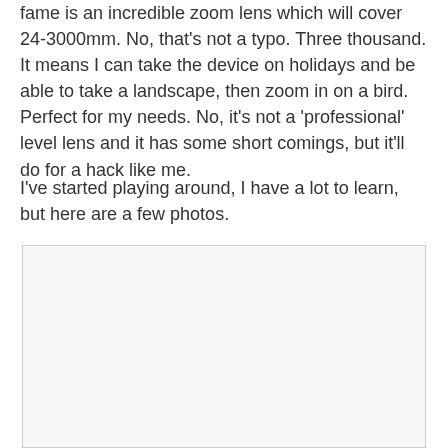fame is an incredible zoom lens which will cover 24-3000mm. No, that's not a typo. Three thousand. It means I can take the device on holidays and be able to take a landscape, then zoom in on a bird. Perfect for my needs. No, it's not a ‘professional’ level lens and it has some short comings, but it'll do for a hack like me.
I've started playing around, I have a lot to learn, but here are a few photos.
[Figure (photo): A large blank/light-colored photo placeholder box with a thin border]